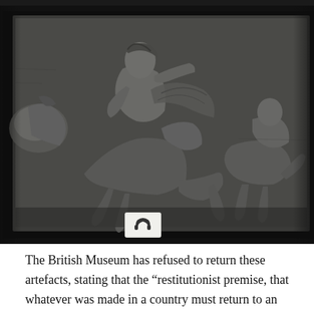[Figure (photo): Black and white photograph of the Parthenon Marbles (Elgin Marbles) at the British Museum, showing a classical Greek stone relief sculpture of horsemen — a muscular rider on a rearing horse with drapery flowing behind, and another horse with rider to the right. A small audio guide icon placard is visible at the bottom center of the sculpture.]
The British Museum has refused to return these artefacts, stating that the “restitutionist premise, that whatever was made in a country must return to an original geographical